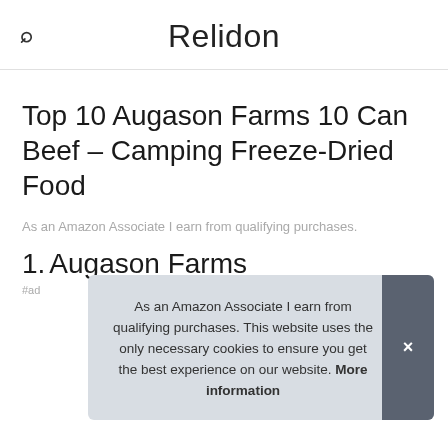Relidon
Top 10 Augason Farms 10 Can Beef – Camping Freeze-Dried Food
As an Amazon Associate I earn from qualifying purchases.
1. Augason Farms
#ad
As an Amazon Associate I earn from qualifying purchases. This website uses the only necessary cookies to ensure you get the best experience on our website. More information